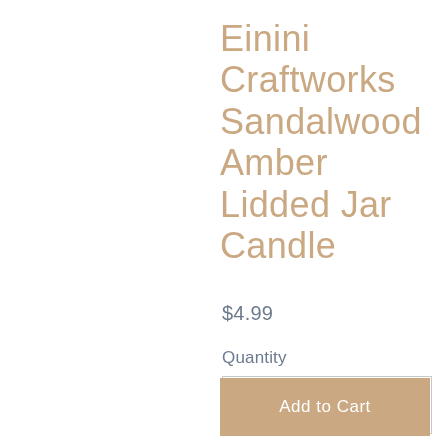Einini Craftworks Sandalwood Amber Lidded Jar Candle
$4.99
Quantity
1
Add to Cart